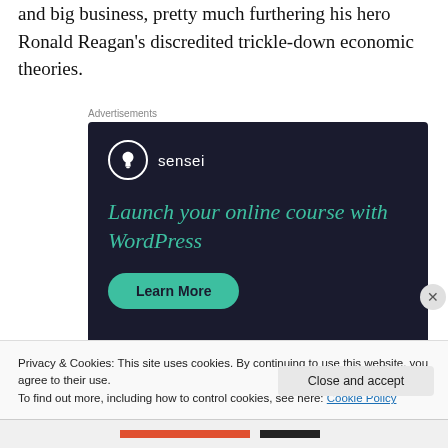and big business, pretty much furthering his hero Ronald Reagan's discredited trickle-down economic theories.
Advertisements
[Figure (illustration): Sensei advertisement with dark navy background. Shows Sensei logo (tree icon in white circle) with brand name 'sensei'. Headline reads 'Launch your online course with WordPress' in teal/green italic font. A teal rounded button labeled 'Learn More' appears below the headline.]
Privacy & Cookies: This site uses cookies. By continuing to use this website, you agree to their use.
To find out more, including how to control cookies, see here: Cookie Policy
Close and accept